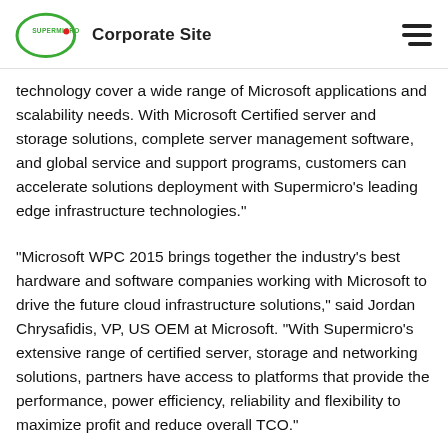Supermicro Corporate Site
technology cover a wide range of Microsoft applications and scalability needs. With Microsoft Certified server and storage solutions, complete server management software, and global service and support programs, customers can accelerate solutions deployment with Supermicro's leading edge infrastructure technologies."
"Microsoft WPC 2015 brings together the industry's best hardware and software companies working with Microsoft to drive the future cloud infrastructure solutions," said Jordan Chrysafidis, VP, US OEM at Microsoft. "With Supermicro's extensive range of certified server, storage and networking solutions, partners have access to platforms that provide the performance, power efficiency, reliability and flexibility to maximize profit and reduce overall TCO."
Supermicro Solutions Highlights